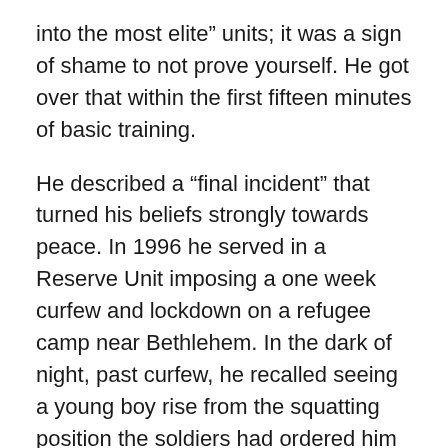into the most elite” units; it was a sign of shame to not prove yourself. He got over that within the first fifteen minutes of basic training.
He described a “final incident” that turned his beliefs strongly towards peace. In 1996 he served in a Reserve Unit imposing a one week curfew and lockdown on a refugee camp near Bethlehem. In the dark of night, past curfew, he recalled seeing a young boy rise from the squatting position the soldiers had ordered him to take. His reflex, in the dark of night and tense and fearful in the camp environment, he turned with his finger on the trigger of his rifle ready to fire. “I was scared.” Another unit member warned him not to fire – and he finally said “enough…I can’t do this anymore…I almost